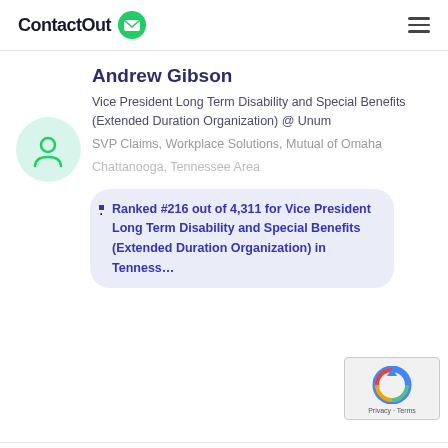ContactOut
Andrew Gibson
Vice President Long Term Disability and Special Benefits (Extended Duration Organization) @ Unum
SVP Claims, Workplace Solutions, Mutual of Omaha
Chattanooga, Tennessee Area
Ranked #216 out of 4,311 for Vice President Long Term Disability and Special Benefits (Extended Duration Organization) in Tenness…
[Figure (illustration): Generic user avatar icon in a light green circle]